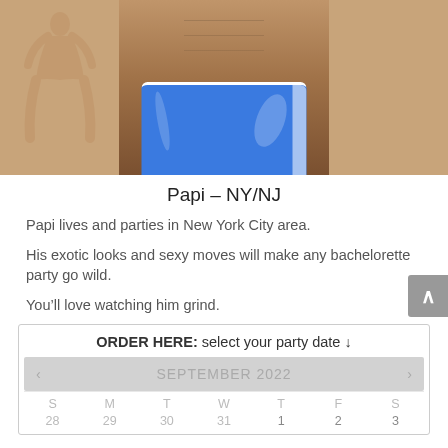[Figure (photo): Torso of a male dancer wearing blue athletic shorts, with a dancer silhouette watermark on the left side.]
Papi – NY/NJ
Papi lives and parties in New York City area.
His exotic looks and sexy moves will make any bachelorette party go wild.
You'll love watching him grind.
| S | M | T | W | T | F | S |
| --- | --- | --- | --- | --- | --- | --- |
| 28 | 29 | 30 | 31 | 1 | 2 | 3 |